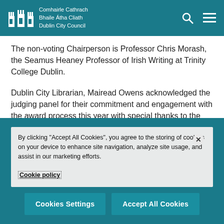Comhairle Cathrach Bhaile Átha Cliath Dublin City Council
The non-voting Chairperson is Professor Chris Morash, the Seamus Heaney Professor of Irish Writing at Trinity College Dublin.
Dublin City Librarian, Mairead Owens acknowledged the judging panel for their commitment and engagement with the award process this year with special thanks to the chair, Professor Chris Morash.
Previous DUBLIN Literary Award winners:
By clicking "Accept All Cookies", you agree to the storing of cookies on your device to enhance site navigation, analyze site usage, and assist in our marketing efforts.
Cookie policy
Cookies Settings
Accept All Cookies